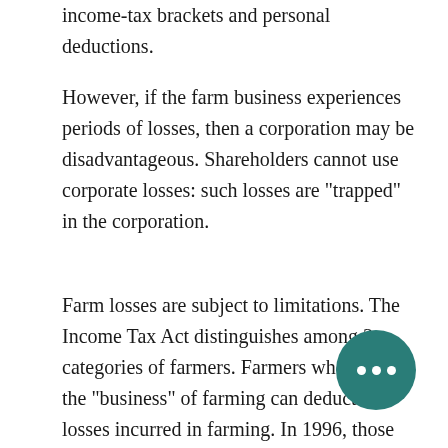income-tax brackets and personal deductions.
However, if the farm business experiences periods of losses, then a corporation may be disadvantageous. Shareholders cannot use corporate losses: such losses are "trapped" in the corporation.
Farm losses are subject to limitations. The Income Tax Act distinguishes among 3 categories of farmers. Farmers who are in the "business" of farming can deduct all losses incurred in farming. In 1996, those persons who farm as a sideline with a reasonable expectation of profit can deduct losses up to a maximum of $8750 per year. Persons who